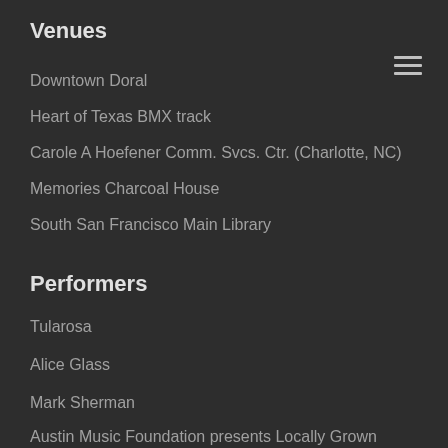Venues
Downtown Doral
Heart of Texas BMX track
Carole A Hoefener Comm. Svcs. Ctr. (Charlotte, NC)
Memories Charcoal House
South San Francisco Main Library
Performers
Tularosa
Alice Glass
Mark Sherman
Austin Music Foundation presents Locally Grown